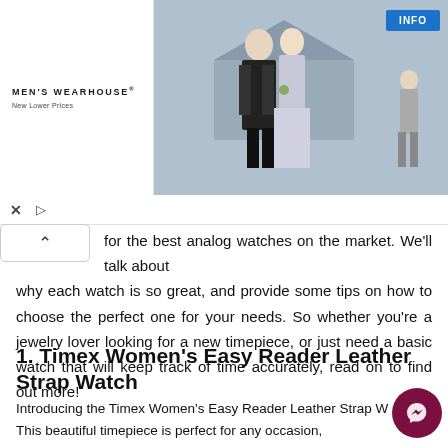[Figure (photo): Men's Wearhouse advertisement banner showing a couple in formal wedding attire and a child in a gray suit, with an INFO button in the top right corner]
for the best analog watches on the market. We'll talk about why each watch is so great, and provide some tips on how to choose the perfect one for your needs. So whether you're a jewelry lover looking for a new timepiece, or just need a basic watch that will keep track of time accurately, read on to find out more!
1. Timex Women's Easy Reader Leather Strap Watch
Introducing the Timex Women's Easy Reader Leather Strap W... This beautiful timepiece is perfect for any occasion, whether you're dressing up for a night out or just keeping it casual... light blue genuine leather strap is adjustable to fit up to a 7.5-inch